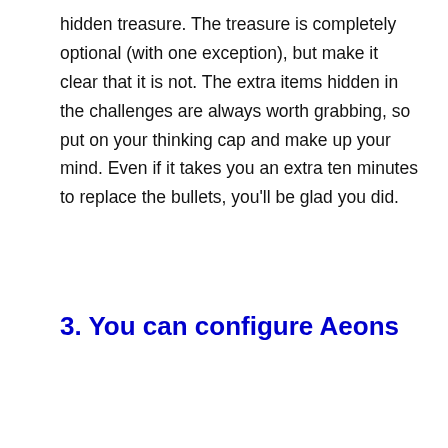hidden treasure. The treasure is completely optional (with one exception), but make it clear that it is not. The extra items hidden in the challenges are always worth grabbing, so put on your thinking cap and make up your mind. Even if it takes you an extra ten minutes to replace the bullets, you'll be glad you did.
3. You can configure Aeons